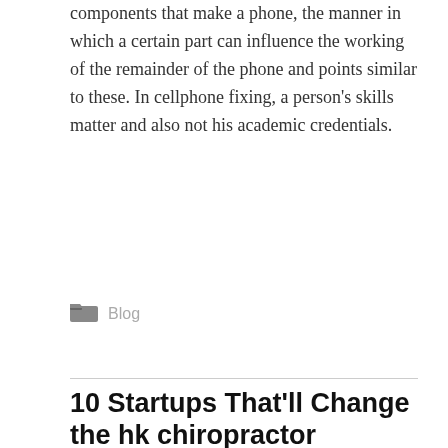components that make a phone, the manner in which a certain part can influence the working of the remainder of the phone and points similar to these. In cellphone fixing, a person's skills matter and also not his academic credentials.
Blog
10 Startups That'll Change the hk chiropractor Industry for the Better
AUGUST 25, 2022, 7:20 PM / SHOPPING-ONLINE12344.TINYBLOGGING.COM